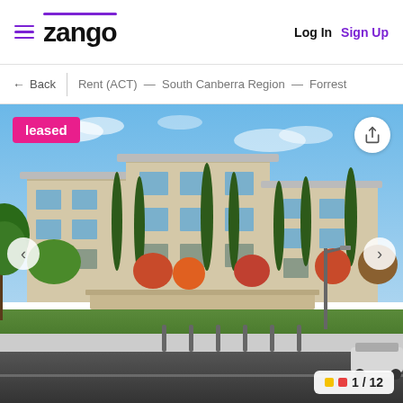zango — Log In  Sign Up
← Back   Rent (ACT) — South Canberra Region — Forrest
[Figure (photo): Exterior photo of a modern multi-storey apartment building with cypress trees, stone walls, and green lawns. Blue sky with light clouds. A street with bollards in the foreground.]
leased
1 / 12